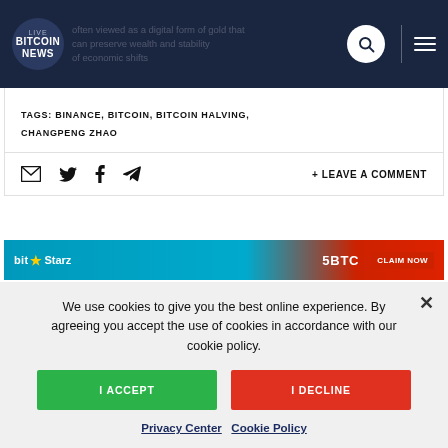LIVE BITCOIN NEWS
often viewed as a digital form of gold that can preserve wealth and stability of economic shifts
TAGS: BINANCE, BITCOIN, BITCOIN HALVING, CHANGPENG ZHAO
+ LEAVE A COMMENT
[Figure (other): BitStarz advertisement banner showing 5BTC offer with CLAIM NOW button]
We use cookies to give you the best online experience. By agreeing you accept the use of cookies in accordance with our cookie policy.
I ACCEPT
I DECLINE
Privacy Center   Cookie Policy